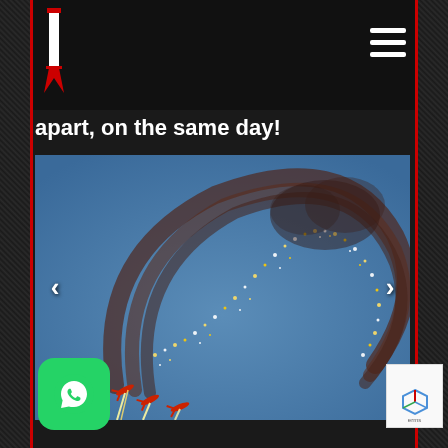apart, on the same day!
[Figure (photo): Aerobatic aircraft performing formation loop with sparkling pyrotechnic trails against a blue sky, slideshow with left and right navigation arrows]
[Figure (logo): WhatsApp green icon button in bottom left corner]
[Figure (other): reCAPTCHA badge partially visible in bottom right corner with 'erms' text visible]